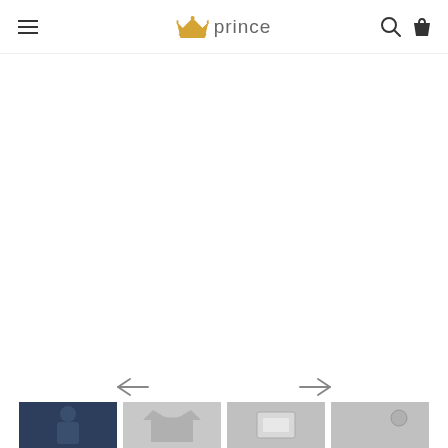prince — navigation header with hamburger menu, logo, search and bag icons
[Figure (photo): Large empty white product image area for a shirt — main product photo display zone]
[Figure (photo): Left arrow navigation control]
[Figure (photo): Right arrow navigation control]
[Figure (photo): Thumbnail 1: man wearing navy blue polo shirt]
[Figure (photo): Thumbnail 2: flat lay of light grey polo shirt]
[Figure (photo): Thumbnail 3: close-up of grey shirt collar/label area]
[Figure (photo): Thumbnail 4: close-up of grey shirt with logo detail]